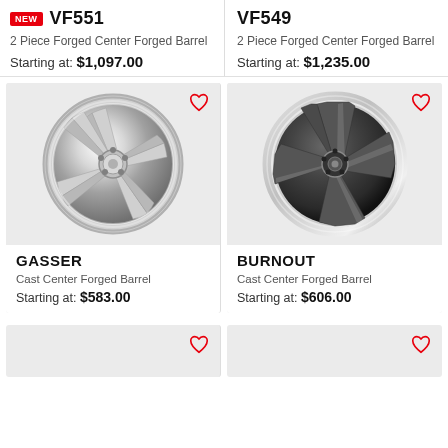VF551
2 Piece Forged Center Forged Barrel
Starting at: $1,097.00
VF549
2 Piece Forged Center Forged Barrel
Starting at: $1,235.00
[Figure (photo): Chrome polished multi-spoke alloy wheel - GASSER model]
[Figure (photo): Dark gunmetal and chrome 5-spoke alloy wheel - BURNOUT model]
GASSER
Cast Center Forged Barrel
Starting at: $583.00
BURNOUT
Cast Center Forged Barrel
Starting at: $606.00
[Figure (photo): Bottom left wheel product card (partially visible)]
[Figure (photo): Bottom right wheel product card (partially visible)]